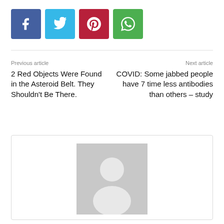[Figure (infographic): Social media share buttons: Facebook (blue), Twitter (light blue), Pinterest (red), WhatsApp (green)]
Previous article
2 Red Objects Were Found in the Asteroid Belt. They Shouldn't Be There.
Next article
COVID: Some jabbed people have 7 time less antibodies than others – study
[Figure (photo): Generic user avatar placeholder image (grey silhouette on grey background)]
News
https://pronewsjournal.com